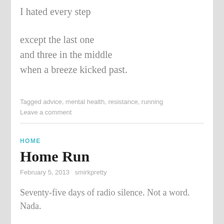I hated every step
except the last one
and three in the middle
when a breeze kicked past.
Tagged advice, mental health, resistance, running
Leave a comment
HOME
Home Run
February 5, 2013   smirkpretty
Seventy-five days of radio silence. Not a word. Nada.